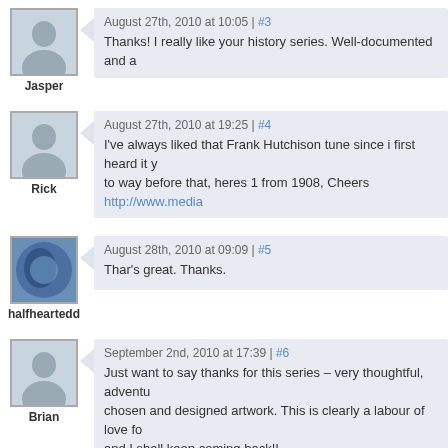August 27th, 2010 at 10:05 | #3
Thanks! I really like your history series. Well-documented and a
August 27th, 2010 at 19:25 | #4
I've always liked that Frank Hutchison tune since i first heard it y... to way before that, heres 1 from 1908, Cheers http://www.media...
August 28th, 2010 at 09:09 | #5
Thar's great. Thanks.
September 2nd, 2010 at 17:39 | #6
Just want to say thanks for this series – very thoughtful, adventu... chosen and designed artwork. This is clearly a labour of love fo... and I shall keep coming back!!
June 17th, 2011 at 10:27 | #7
dear dude, many thanks for making vols 1,part 2 and 5 available...
this is an amazing series, and i cant wait to see how far you will...